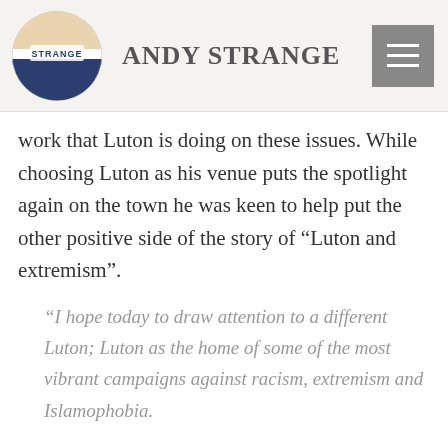Andy Strange
work that Luton is doing on these issues. While choosing Luton as his venue puts the spotlight again on the town he was keen to help put the other positive side of the story of “Luton and extremism”.
“I hope today to draw attention to a different Luton; Luton as the home of some of the most vibrant campaigns against racism, extremism and Islamophobia.
In particular I would like to thank the members of the Luton Commission on Community Cohesion, which is a superb